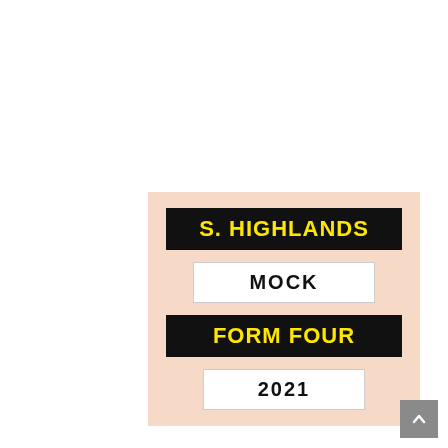S. HIGHLANDS
MOCK
FORM FOUR
2021